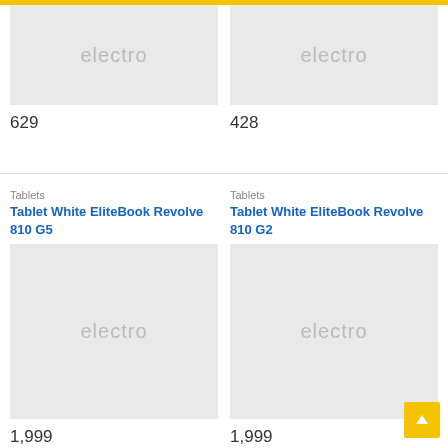[Figure (screenshot): Product image placeholder with 'electro' watermark text, top-left product card]
629
[Figure (screenshot): Product image placeholder with 'electro' watermark text, top-right product card]
428
Tablets
Tablet White EliteBook Revolve 810 G5
[Figure (screenshot): Product image placeholder with 'electro' watermark text, bottom-left product card]
1,999
Tablets
Tablet White EliteBook Revolve 810 G2
[Figure (screenshot): Product image placeholder with 'electro' watermark text, bottom-right product card]
1,999